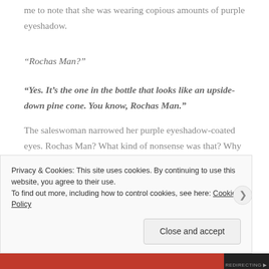me to note that she was wearing copious amounts of purple eyeshadow.
“Rochas Man?”
“Yes. It’s the one in the bottle that looks like an upside-down pine cone. You know, Rochas Man.”
The saleswoman narrowed her purple eyeshadow-coated eyes. Rochas Man? What kind of nonsense was that? Why were these bothersome vagrants trying to waste her time?
Privacy & Cookies: This site uses cookies. By continuing to use this website, you agree to their use. To find out more, including how to control cookies, see here: Cookie Policy
Close and accept